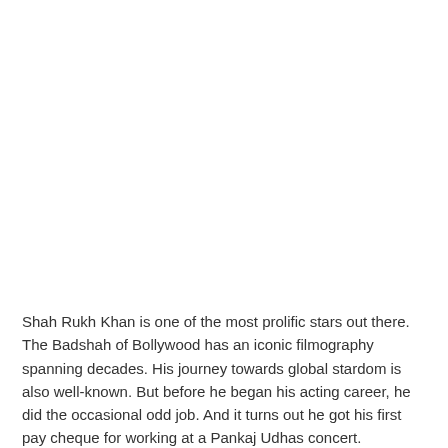Shah Rukh Khan is one of the most prolific stars out there. The Badshah of Bollywood has an iconic filmography spanning decades. His journey towards global stardom is also well-known. But before he began his acting career, he did the occasional odd job. And it turns out he got his first pay cheque for working at a Pankaj Udhas concert.